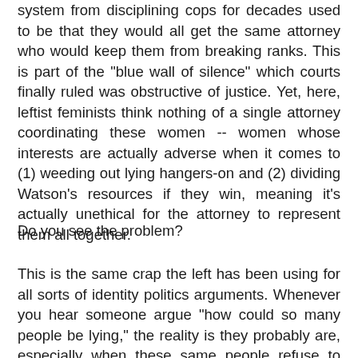system from disciplining cops for decades used to be that they would all get the same attorney who would keep them from breaking ranks. This is part of the "blue wall of silence" which courts finally ruled was obstructive of justice. Yet, here, leftist feminists think nothing of a single attorney coordinating these women -- women whose interests are actually adverse when it comes to (1) weeding out lying hangers-on and (2) dividing Watson's resources if they win, meaning it's actually unethical for the attorney to represent them all together.
Do you see the problem?
This is the same crap the left has been using for all sorts of identity politics arguments. Whenever you hear someone argue "how could so many people be lying," the reality is they probably are, especially when these same people refuse to allow the accused to make the same argument... or defend themselves (see Duke rape case). Think about all the hundreds of totally false sexual harassment claims made against every Republican nominee. Think about the pathetic evidence the left accepts in those cases: "she told her best friend, she would never say so, she lied for decades, it's...